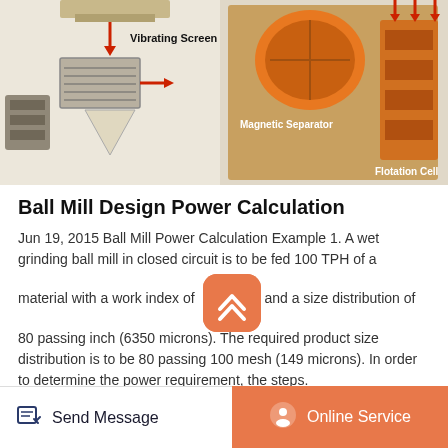[Figure (illustration): Industrial equipment diagram showing a Vibrating Screen on the left side and a Magnetic Separator and Flotation Cell on the right side, with arrows indicating material flow.]
Ball Mill Design Power Calculation
Jun 19, 2015 Ball Mill Power Calculation Example 1. A wet grinding ball mill in closed circuit is to be fed 100 TPH of a material with a work index of and a size distribution of 80 passing inch (6350 microns). The required product size distribution is to be 80 passing 100 mesh (149 microns). In order to determine the power requirement, the steps.
Read More
Send Message
Online Service